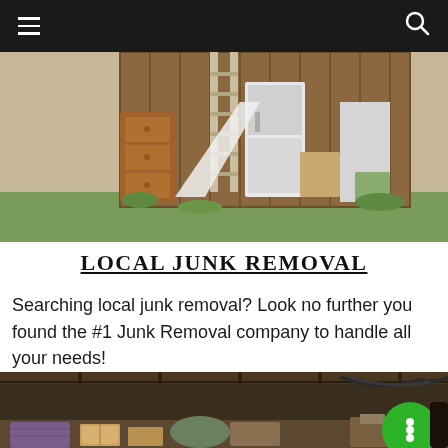Navigation bar with hamburger menu and search icon
[Figure (photo): Outdoor scene with old furniture, appliances, and junk piled outside a wooden building including a brown dresser, white refrigerator, ladders, and various items on grass]
LOCAL JUNK REMOVAL
Searching local junk removal? Look no further you found the #1 Junk Removal company to handle all your needs!
[Figure (photo): Interior of a cluttered shed or storage space filled with assorted junk, boxes, tools, cables, carpets, and miscellaneous items piled high]